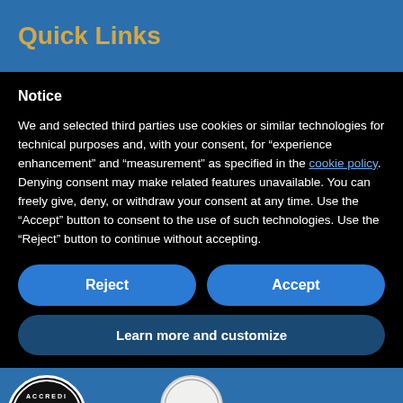Quick Links
Notice
We and selected third parties use cookies or similar technologies for technical purposes and, with your consent, for “experience enhancement” and “measurement” as specified in the cookie policy. Denying consent may make related features unavailable. You can freely give, deny, or withdraw your consent at any time. Use the “Accept” button to consent to the use of such technologies. Use the “Reject” button to continue without accepting.
Reject
Accept
Learn more and customize
[Figure (logo): Accreditation badge logo at bottom left]
[Figure (logo): Circular stamp badge showing 1828 at bottom center]